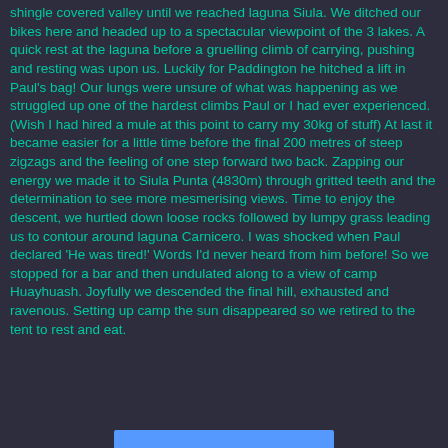shingle covered valley until we reached laguna Siula.  We ditched our bikes here and headed up to a spectacular viewpoint of the 3 lakes.  A quick rest at the laguna before a gruelling climb of carrying, pushing and resting was upon us.  Luckily for Paddington he hitched a lift in Paul's bag!  Our lungs were unsure of what was happening as we struggled up one of the hardest climbs Paul or I had ever experienced.  (Wish I had hired a mule at this point to carry my 30kg of stuff)  At last it became easier for a little time before the final 200 metres of steep zigzags and the feeling of one step forward two back.  Zapping our energy we made it to Siula Punta (4830m) through gritted teeth and the determination to see more mesmerising views.   Time to enjoy the descent, we  hurtled down loose rocks followed by lumpy grass leading us to contour around laguna Carnicero.   I was shocked when Paul declared 'He was tired!'  Words I'd never heard from him before!  So we stopped for a bar and then undulated along to a view of camp Huayhuash.  Joyfully we descended the final hill, exhausted and ravenous.  Setting up camp the sun disappeared so we retired to the tent to rest and eat.
[Figure (other): Blue bar/button element at the bottom of the page]